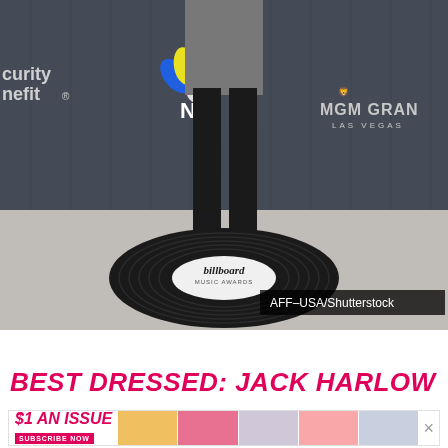[Figure (photo): A person (Jack Harlow) wearing a black suit standing on a large vinyl record prop with the Billboard Music Awards logo in the center. Behind him is a dark step-and-repeat banner with NBC and MGM Grand Las Vegas logos. The floor is a grey carpet. Watermark reads AFF-USA/Shutterstock.]
BEST DRESSED: JACK HARLOW
[Figure (infographic): Advertisement banner: $1 AN ISSUE with SUBSCRIBE NOW button from Us Weekly magazine, showing magazine covers on the right side.]